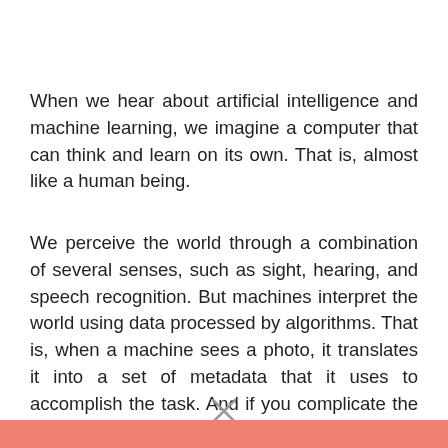When we hear about artificial intelligence and machine learning, we imagine a computer that can think and learn on its own. That is, almost like a human being.
We perceive the world through a combination of several senses, such as sight, hearing, and speech recognition. But machines interpret the world using data processed by algorithms. That is, when a machine sees a photo, it translates it into a set of metadata that it uses to accomplish the task. And if you complicate the task, that is, where in addition to the image there will be sound, then AI can get lost.